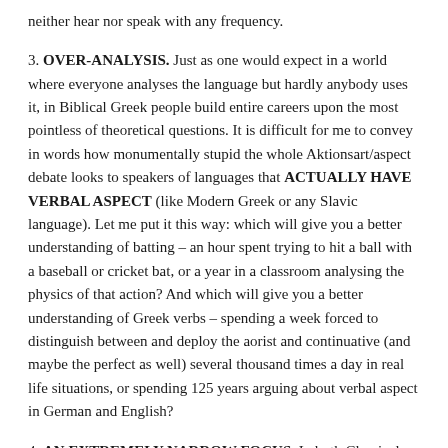neither hear nor speak with any frequency.
3. OVER-ANALYSIS. Just as one would expect in a world where everyone analyses the language but hardly anybody uses it, in Biblical Greek people build entire careers upon the most pointless of theoretical questions. It is difficult for me to convey in words how monumentally stupid the whole Aktionsart/aspect debate looks to speakers of languages that ACTUALLY HAVE VERBAL ASPECT (like Modern Greek or any Slavic language). Let me put it this way: which will give you a better understanding of batting – an hour spent trying to hit a ball with a baseball or cricket bat, or a year in a classroom analysing the physics of that action? And which will give you a better understanding of Greek verbs – spending a week forced to distinguish between and deploy the aorist and continuative (and maybe the perfect as well) several thousand times a day in real life situations, or spending 125 years arguing about verbal aspect in German and English?
4. AN EXTREMELY NARROW FOCUS. In both Classical and Biblical Greek there is a perverse and damaging obsession with just a few texts, with perhaps 95% of the attention focused on 5% of the corpus. This is, I think, one of the consequences of the inability to read fluently, but it also reinforces that inability. The problem is most acute in Biblical Greek,